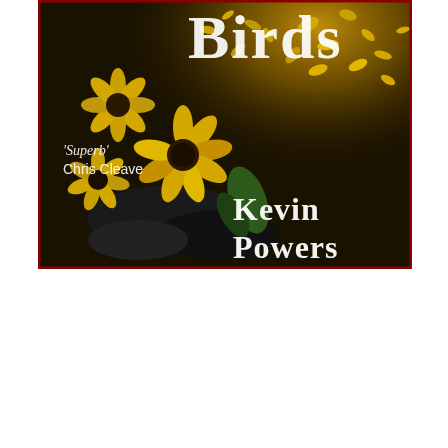[Figure (illustration): Book cover showing yellow flowers (black-eyed Susans) scattered against a dark background with golden light. Text on cover reads 'Birds' (partial, at top), 'Superb' Chris Cleave (left side, italic quote), and 'Kevin Powers' (bottom right) in white/cream text.]